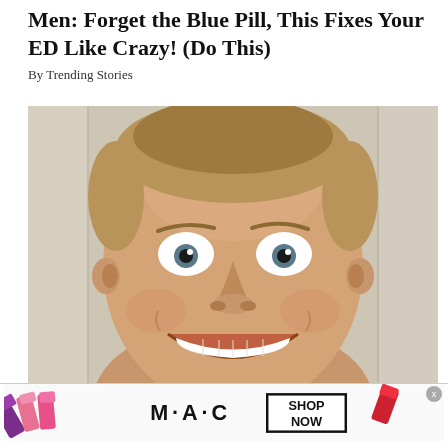Men: Forget the Blue Pill, This Fixes Your ED Like Crazy! (Do This)
By Trending Stories
[Figure (photo): Close-up photo of a man with a wide-eyed expression, teeth clenched in a big grin, facing the camera very close up. Blond/brown hair, against a light beige door background.]
[Figure (photo): MAC cosmetics advertisement banner showing multiple lipsticks (purple, pink, red) with the MAC logo and a 'SHOP NOW' button box in black border.]